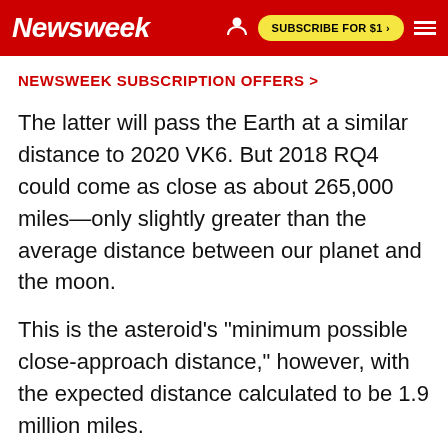Newsweek | SUBSCRIBE FOR $1 >
NEWSWEEK SUBSCRIPTION OFFERS >
The latter will pass the Earth at a similar distance to 2020 VK6. But 2018 RQ4 could come as close as about 265,000 miles—only slightly greater than the average distance between our planet and the moon.
This is the asteroid's "minimum possible close-approach distance," however, with the expected distance calculated to be 1.9 million miles.